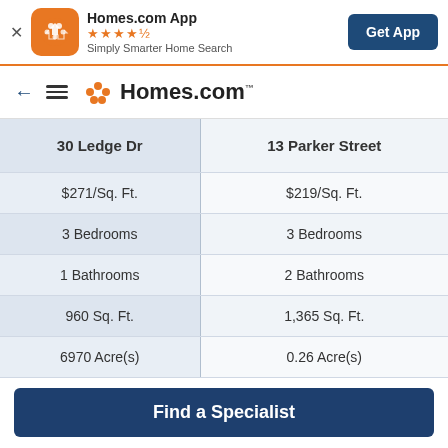[Figure (screenshot): Homes.com app banner with orange icon, star rating, tagline, and Get App button]
[Figure (screenshot): Homes.com navigation bar with back arrow, hamburger menu, and Homes.com logo]
| 30 Ledge Dr | 13 Parker Street |
| --- | --- |
| $271/Sq. Ft. | $219/Sq. Ft. |
| 3 Bedrooms | 3 Bedrooms |
| 1 Bathrooms | 2 Bathrooms |
| 960 Sq. Ft. | 1,365 Sq. Ft. |
| 6970 Acre(s) | 0.26 Acre(s) |
Find a Specialist